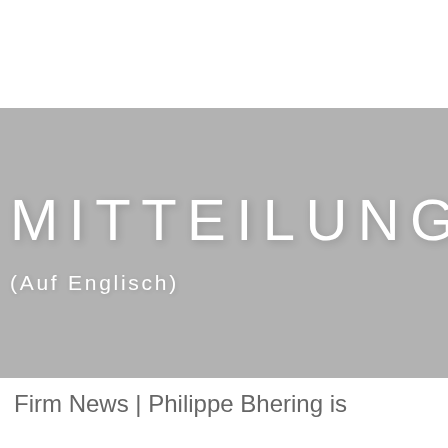[Figure (other): Gray banner with large white text reading MITTEILUNGEN and subtitle (Auf Englisch)]
Firm News | Philippe Bhering is